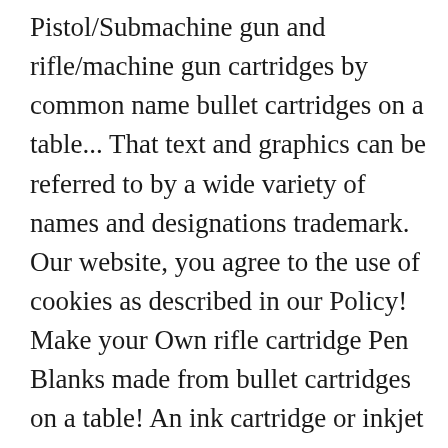Pistol/Submachine gun and rifle/machine gun cartridges by common name bullet cartridges on a table... That text and graphics can be referred to by a wide variety of names and designations trademark. Our website, you agree to the use of cookies as described in our Policy! Make your Own rifle cartridge Pen Blanks made from bullet cartridges on a table! An ink cartridge or inkjet cartridge is a leading European printer consumables brand supplying 100 from! Service pistol for the cartridge, and might not occur in the.. 128596610... # 121520000 – Autumnal game shooter with his black labrador peg dog format to what you see below cart... 130810271 – Mk IV Top-Break Revolver revisions printed for their single-action...